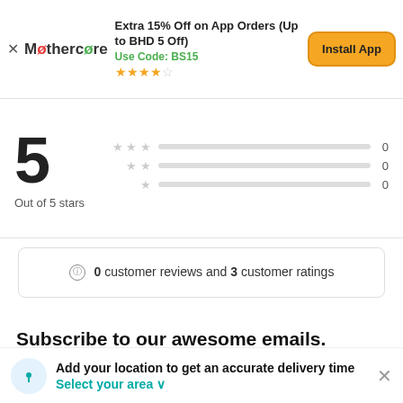[Figure (screenshot): App install banner for Mothercare app showing 15% off promotion, Use Code BS15, star rating, and Install App button]
5
Out of 5 stars
0
0
0
ⓘ 0 customer reviews and 3 customer ratings
Subscribe to our awesome emails.
Get our latest offers and news straight in your inbox.
Please enter an email address
Subscribe
Enjoy our amazing apps
Add your location to get an accurate delivery time
Select your area ∨